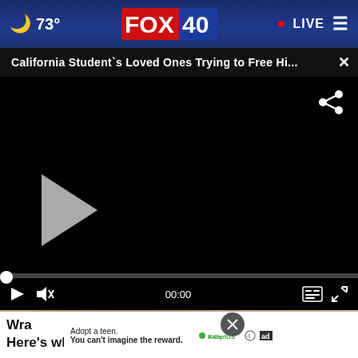73° FOX 40 • LIVE
California Student`s Loved Ones Trying to Free Hi...
[Figure (screenshot): Video player showing a dark/black screen with a play button, progress bar at 00:00, and video controls including play, mute, captions, and fullscreen buttons. A share icon is visible in the top right of the video area.]
[Figure (photo): Partial view of a background image showing metallic or bronze-colored vertical elements]
Adopt a teen. You can't imagine the reward.
Wra... ne, Here's why